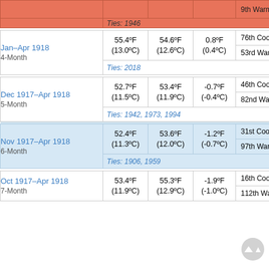| Period | Observed Temp | 20th C. Avg | Departure | Rank (out of 128) |  |
| --- | --- | --- | --- | --- | --- |
|  |  |  |  | 9th Warmest | W… |
| Ties: 1946 |  |  |  |  |  |
| Jan–Apr 1918
4-Month | 55.4°F
(13.0°C) | 54.6°F
(12.6°C) | 0.8°F
(0.4°C) | 76th Coolest | Co… |
|  |  |  |  | 53rd Warmest | W… |
| Ties: 2018 |  |  |  |  |  |
| Dec 1917–Apr 1918
5-Month | 52.7°F
(11.5°C) | 53.4°F
(11.9°C) | -0.7°F
(-0.4°C) | 46th Coolest | Co… |
|  |  |  |  | 82nd Warmest | W… |
| Ties: 1942, 1973, 1994 |  |  |  |  |  |
| Nov 1917–Apr 1918
6-Month | 52.4°F
(11.3°C) | 53.6°F
(12.0°C) | -1.2°F
(-0.7°C) | 31st Coolest | Co… |
|  |  |  |  | 97th Warmest | W… |
| Ties: 1906, 1959 |  |  |  |  |  |
| Oct 1917–Apr 1918
7-Month | 53.4°F
(11.9°C) | 55.3°F
(12.9°C) | -1.9°F
(-1.0°C) | 16th Coolest | Co… |
|  |  |  |  | 112th Warmest | W… |